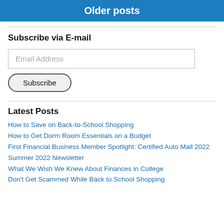Older posts
Subscribe via E-mail
Email Address
Subscribe
Latest Posts
How to Save on Back-to-School Shopping
How to Get Dorm Room Essentials on a Budget
First Financial Business Member Spotlight: Certified Auto Mall 2022
Summer 2022 Newsletter
What We Wish We Knew About Finances in College
Don't Get Scammed While Back to School Shopping